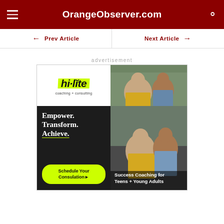OrangeObserver.com
← Prev Article
Next Article →
advertisement
[Figure (illustration): Hi-lite coaching + consulting advertisement featuring logo with yellow highlight, photo of woman and teen sitting outdoors, tagline 'Empower. Transform. Achieve.', CTA button 'Schedule Your Consulation▶', and text 'Success Coaching for Teens + Young Adults']